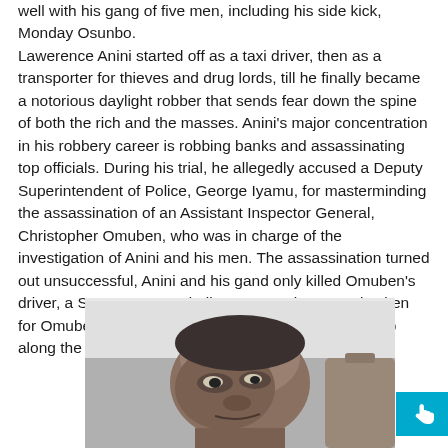well with his gang of five men, including his side kick, Monday Osunbo. Lawerence Anini started off as a taxi driver, then as a transporter for thieves and drug lords, till he finally became a notorious daylight robber that sends fear down the spine of both the rich and the masses. Anini's major concentration in his robbery career is robbing banks and assassinating top officials. During his trial, he allegedly accused a Deputy Superintendent of Police, George Iyamu, for masterminding the assassination of an Assistant Inspector General, Christopher Omuben, who was in charge of the investigation of Anini and his men. The assassination turned out unsuccessful, Anini and his gand only killed Omuben's driver, a Seargent named Albert Otue, who was mistaken for Omuben. He was beheaded and dumped in a shrub along the Benin- Agbor road.
[Figure (photo): Black and white photograph of a person lying down, face visible, appearing to be a historical news photograph related to the Anini story.]